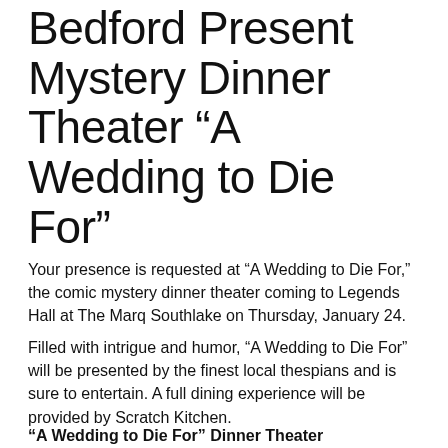Bedford Present Mystery Dinner Theater “A Wedding to Die For”
Your presence is requested at “A Wedding to Die For,” the comic mystery dinner theater coming to Legends Hall at The Marq Southlake on Thursday, January 24.
Filled with intrigue and humor, “A Wedding to Die For” will be presented by the finest local thespians and is sure to entertain. A full dining experience will be provided by Scratch Kitchen.
“A Wedding to Die For” Dinner Theater
Thursday, January 24